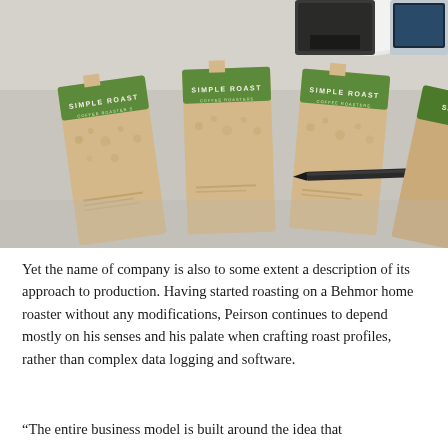[Figure (photo): Photograph of several Simple Roast coffee bags laid out on a table, with a pen resting on one of them. The bags are kraft paper with green label bands. A white object and a laptop are partially visible in the background.]
Yet the name of company is also to some extent a description of its approach to production. Having started roasting on a Behmor home roaster without any modifications, Peirson continues to depend mostly on his senses and his palate when crafting roast profiles, rather than complex data logging and software.
“The entire business model is built around the idea that